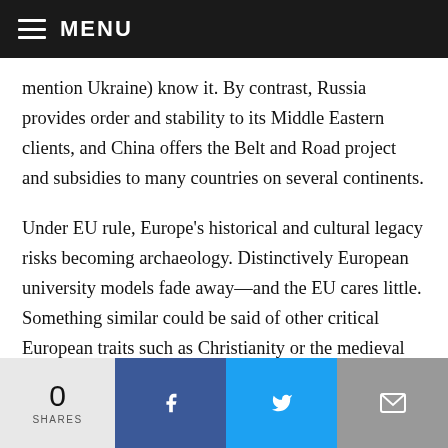MENU
mention Ukraine) know it. By contrast, Russia provides order and stability to its Middle Eastern clients, and China offers the Belt and Road project and subsidies to many countries on several continents.
Under EU rule, Europe's historical and cultural legacy risks becoming archaeology. Distinctively European university models fade away—and the EU cares little. Something similar could be said of other critical European traits such as Christianity or the medieval and Enlightenment cultural achievements. I wonder what